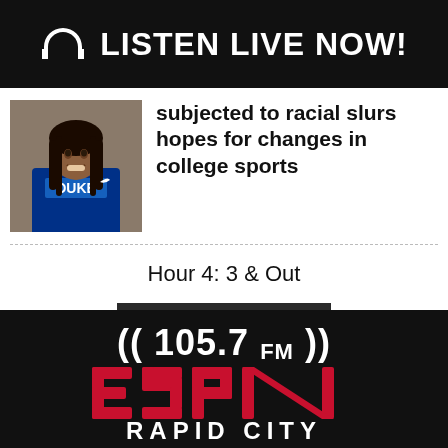LISTEN LIVE NOW!
[Figure (photo): Young woman in Duke blue soccer jersey smiling, with braided hair, against a blurred background]
subjected to racial slurs hopes for changes in college sports
Hour 4: 3 & Out
View More
[Figure (logo): 105.7 FM ESPN Rapid City radio station logo with ESPN text in red and white on black background]